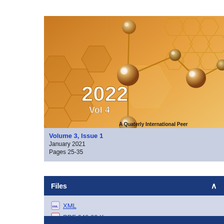[Figure (illustration): Journal cover image for 2022 Vol 4 — golden molecular/hexagonal chemistry theme with sphere-and-stick molecules on an orange/amber hexagonal background. Text on image: '2022', 'Vol 4', 'A Quaterly International Peer', 'http://www.ajchem-b...']
Volume 3, Issue 1
January 2021
Pages 25-35
Files
XML
PDF 640.22 K